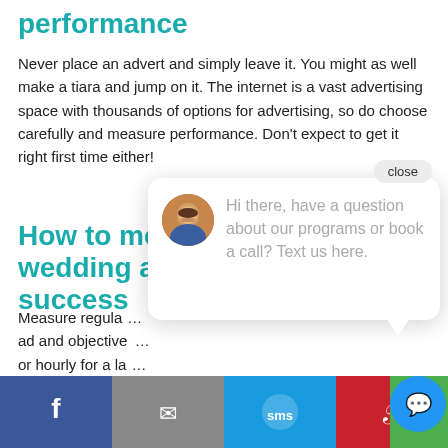performance
Never place an advert and simply leave it. You might as well make a tiara and jump on it. The internet is a vast advertising space with thousands of options for advertising, so do choose carefully and measure performance. Don't expect to get it right first time either!
How to measure your wedding ad success
Measure regularly against your ad and objectives ... or hourly for a la... an ad, measure ... you know it works!
[Figure (screenshot): Chat popup bubble with avatar and message: 'Hi there, have a question about our programs or book a call? Text us here.' with a close button.]
[Figure (infographic): Bottom share bar with Facebook, Email, SMS, Pinterest buttons and a chat FAB button.]